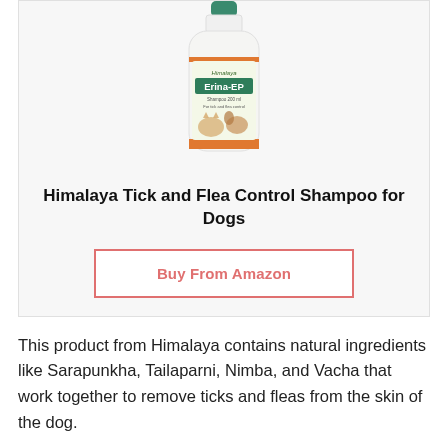[Figure (photo): Himalaya Erina-EP tick and flea control shampoo bottle for dogs and cats, white bottle with green cap and orange label band, showing images of a cat and dog on the label.]
Himalaya Tick and Flea Control Shampoo for Dogs
Buy From Amazon
This product from Himalaya contains natural ingredients like Sarapunkha, Tailaparni, Nimba, and Vacha that work together to remove ticks and fleas from the skin of the dog.